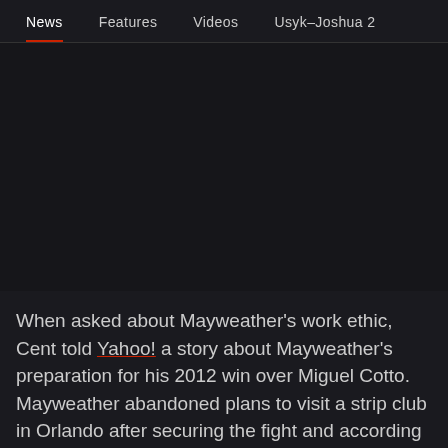News | Features | Videos | Usyk-Joshua 2
[Figure (photo): Dark placeholder image area, likely a photo of a boxer or related sports imagery]
When asked about Mayweather's work ethic, Cent told Yahoo! a story about Mayweather's preparation for his 2012 win over Miguel Cotto. Mayweather abandoned plans to visit a strip club in Orlando after securing the fight and according to Cent, he: "He did six miles (of